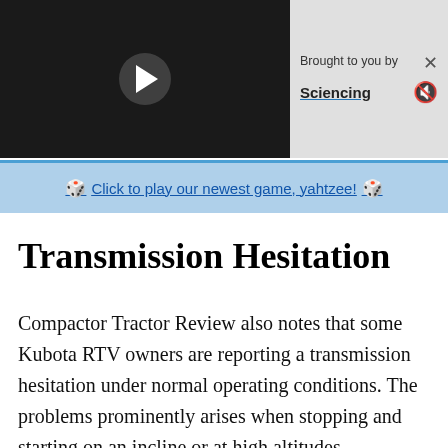[Figure (screenshot): Video player with dark background and play button]
Brought to you by Sciencing
Click to play our newest game, yahtzee!
Transmission Hesitation
Compactor Tractor Review also notes that some Kubota RTV owners are reporting a transmission hesitation under normal operating conditions. The problems prominently arises when stopping and starting on an incline or at high altitudes. According to Kubota, the RTV is sensitive to the transmission fluid used in the vehicle. If you have mixed transmission fluids, instead of using the